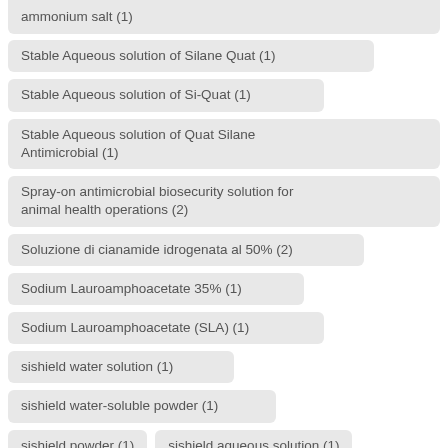ammonium salt (1)
Stable Aqueous solution of Silane Quat (1)
Stable Aqueous solution of Si-Quat (1)
Stable Aqueous solution of Quat Silane Antimicrobial (1)
Spray-on antimicrobial biosecurity solution for animal health operations (2)
Soluzione di cianamide idrogenata al 50% (2)
Sodium Lauroamphoacetate 35% (1)
Sodium Lauroamphoacetate (SLA) (1)
sishield water solution (1)
sishield water-soluble powder (1)
sishield powder (1)
sishield aqueous solution (1)